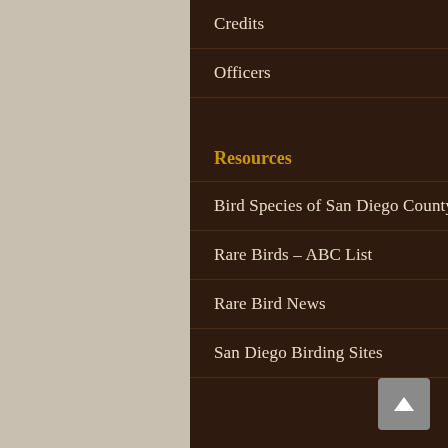Credits
Officers
Resources
Bird Species of San Diego County
Rare Birds – ABC List
Rare Bird News
San Diego Birding Sites
Links
Buena Vista Audubon Society